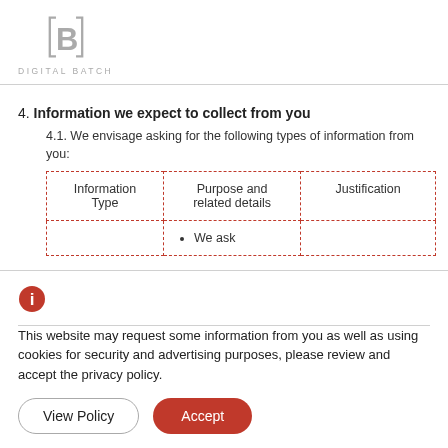DIGITAL BATCH
4. Information we expect to collect from you
4.1. We envisage asking for the following types of information from you:
| Information Type | Purpose and related details | Justification |
| --- | --- | --- |
|  | • We ask |  |
This website may request some information from you as well as using cookies for security and advertising purposes, please review and accept the privacy policy.